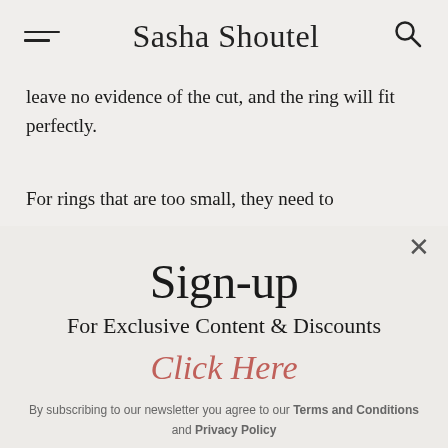Sasha Shoutel — navigation header with hamburger menu and search icon
leave no evidence of the cut, and the ring will fit perfectly.
For rings that are too small, they need to
Sign-up
For Exclusive Content & Discounts
Click Here
By subscribing to our newsletter you agree to our Terms and Conditions and Privacy Policy